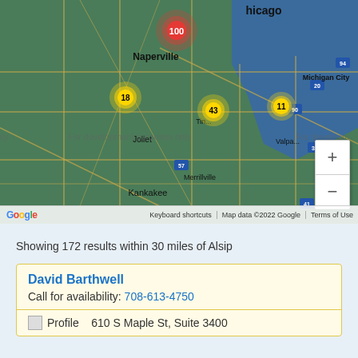[Figure (map): Google Map centered on Chicago/Naperville area showing clustered markers: red marker with 100, yellow markers with 18, 43, and 11. Map includes city labels: Chicago, Naperville, Joliet, Tinley Park, Valparaiso, Michigan City, Kankakee, Merrillville. Watermark: For development purposes only. Zoom controls visible. Google logo and map attribution at bottom.]
Showing 172 results within 30 miles of Alsip
David Barthwell
Call for availability: 708-613-4750
Profile   610 S Maple St, Suite 3400